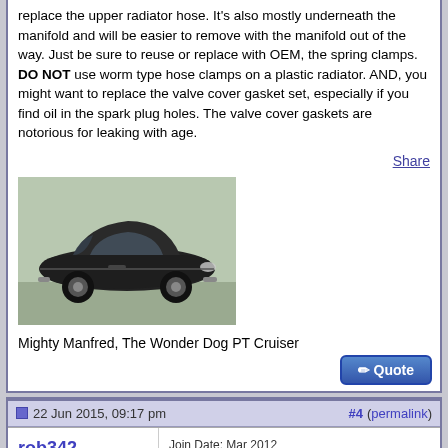replace the upper radiator hose. It's also mostly underneath the manifold and will be easier to remove with the manifold out of the way. Just be sure to reuse or replace with OEM, the spring clamps. DO NOT use worm type hose clamps on a plastic radiator. AND, you might want to replace the valve cover gasket set, especially if you find oil in the spark plug holes. The valve cover gaskets are notorious for leaking with age.
Share
[Figure (photo): Dark colored Chrysler PT Cruiser SUV parked in a lot, side view]
Mighty Manfred, The Wonder Dog PT Cruiser
Quote button
22 Jun 2015, 09:17 pm   #4 (permalink)
rob342  Veteran Cruiser   Join Date: Mar 2012  Location: darien il  Posts: 4,592  rob342's Gallery
Re: Changing spark plugs, do I need new intake manifold